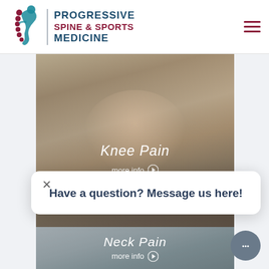[Figure (logo): Progressive Spine & Sports Medicine logo with teal spine/figure icon and text]
[Figure (photo): Person holding their knee, representing knee pain service. Text overlay: 'Knee Pain' with 'more info' link.]
Have a question? Message us here!
[Figure (photo): Person with hands on neck, representing neck pain service. Text overlay: 'Neck Pain' with 'more info' link.]